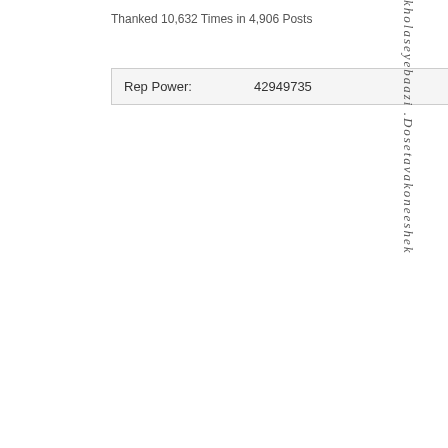Thanked 10,632 Times in 4,906 Posts
| Rep Power: | 42949735 |
| --- | --- |
kholaseyebaazi .Dosetavakoneeshek